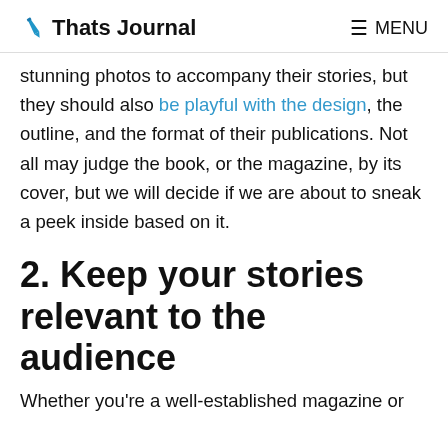Thats Journal  ≡ MENU
stunning photos to accompany their stories, but they should also be playful with the design, the outline, and the format of their publications. Not all may judge the book, or the magazine, by its cover, but we will decide if we are about to sneak a peek inside based on it.
2. Keep your stories relevant to the audience
Whether you're a well-established magazine or